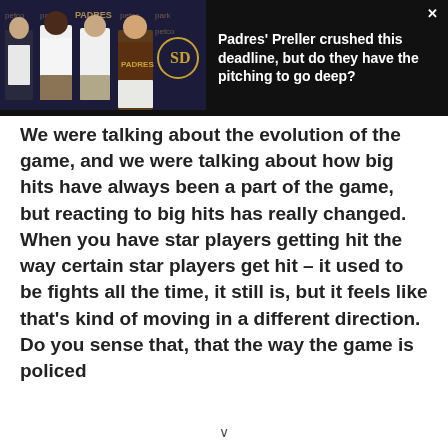[Figure (photo): Four men posing in front of a Padres/Petco Park backdrop. One man is wearing a brown Padres jersey. The background has Padres and Petco Park logos.]
Padres' Preller crushed this deadline, but do they have the pitching to go deep?
We were talking about the evolution of the game, and we were talking about how big hits have always been a part of the game, but reacting to big hits has really changed. When you have star players getting hit the way certain star players get hit – it used to be fights all the time, it still is, but it feels like that's kind of moving in a different direction. Do you sense that, that the way the game is policed